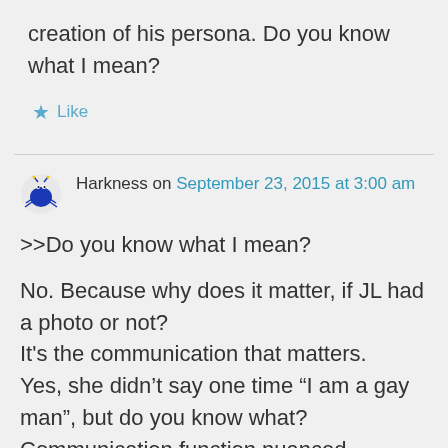creation of his persona. Do you know what I mean?
Like
Harkness on September 23, 2015 at 3:00 am
>>Do you know what I mean?

No. Because why does it matter, if JL had a photo or not?
It's the communication that matters.
Yes, she didn't say one time “I am a gay man”, but do you know what?
Communication function nuanced